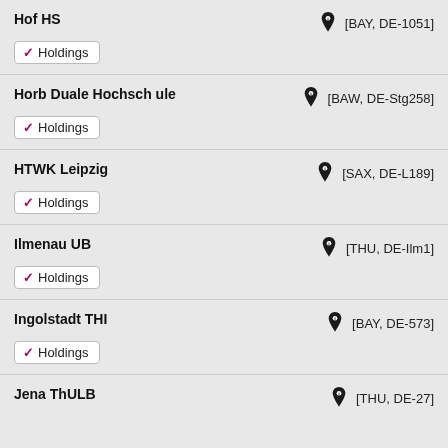Hof HS [BAY, DE-1051] Holdings
Horb Duale Hochschule [BAW, DE-Stg258] Holdings
HTWK Leipzig [SAX, DE-L189] Holdings
Ilmenau UB [THU, DE-Ilm1] Holdings
Ingolstadt THI [BAY, DE-573] Holdings
Jena ThULB [THU, DE-27]